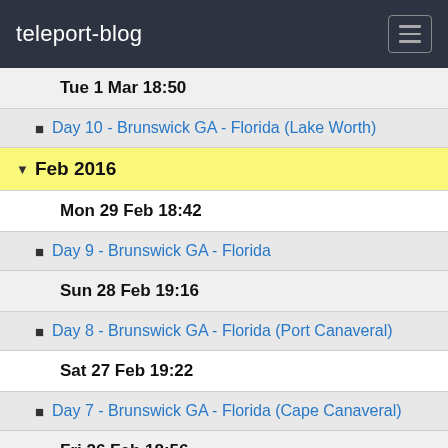teleport-blog
Tue 1 Mar 18:50
Day 10 - Brunswick GA - Florida (Lake Worth)
Feb 2016
Mon 29 Feb 18:42
Day 9 - Brunswick GA - Florida
Sun 28 Feb 19:16
Day 8 - Brunswick GA - Florida (Port Canaveral)
Sat 27 Feb 19:22
Day 7 - Brunswick GA - Florida (Cape Canaveral)
Fri 26 Feb 18:56
Day 6 - Brunswick GA - Florida (St Augustine)
Thu 25 Feb 18:48
Day 5 - Brunswick GA - Florida (St Augustine)
Wed 24 Feb 18:45
Day 4 - Brunswick GA - Florida (St Augustine)